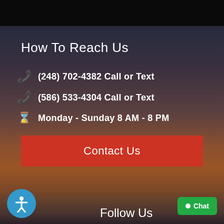How To Reach Us
(248) 702-4382 Call or Text
(586) 533-4304 Call or Text
Monday - Sunday 8 AM - 8 PM
Contact Us
Follow Us